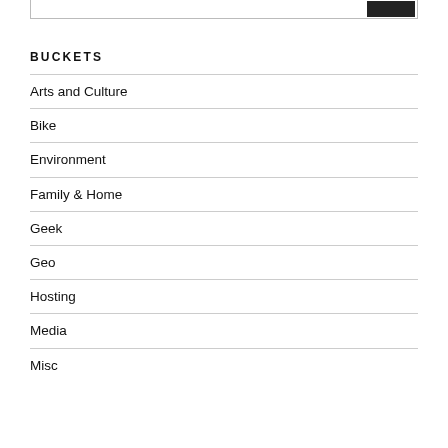BUCKETS
Arts and Culture
Bike
Environment
Family & Home
Geek
Geo
Hosting
Media
Misc